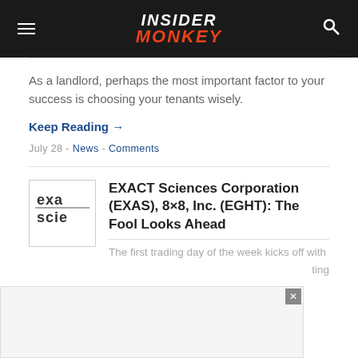INSIDER MONKEY
As a landlord, perhaps the most important factor to your success is choosing your tenants wisely.
Keep Reading →
July 28 - News - Comments
EXACT Sciences Corporation (EXAS), 8×8, Inc. (EGHT): The Fool Looks Ahead
The first trading day of the week kicks off with ... ting